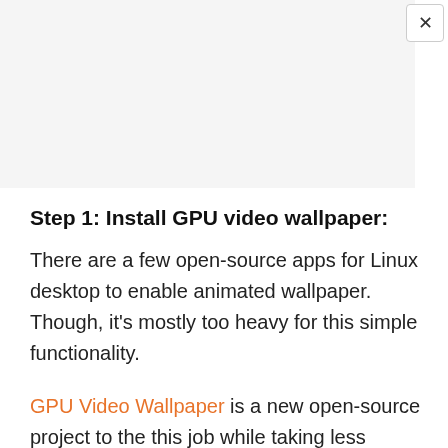[Figure (other): Gray advertisement placeholder box with a close (×) button in the top-right corner]
Step 1: Install GPU video wallpaper:
There are a few open-source apps for Linux desktop to enable animated wallpaper. Though, it's mostly too heavy for this simple functionality.
GPU Video Wallpaper is a new open-source project to the this job while taking less system resources. As its